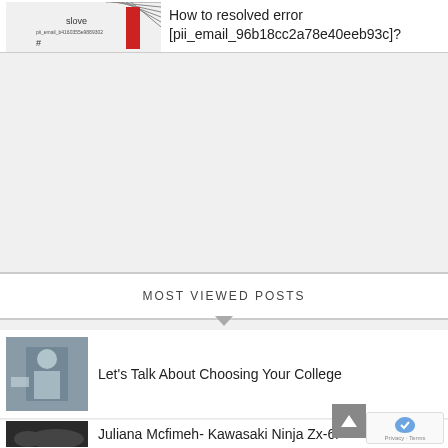How to resolved error [pii_email_96b18cc2a78e40eeb93c]?
MOST VIEWED POSTS
Let's Talk About Choosing Your College
Juliana Mcfimeh- Kawasaki Ninja Zx-6r